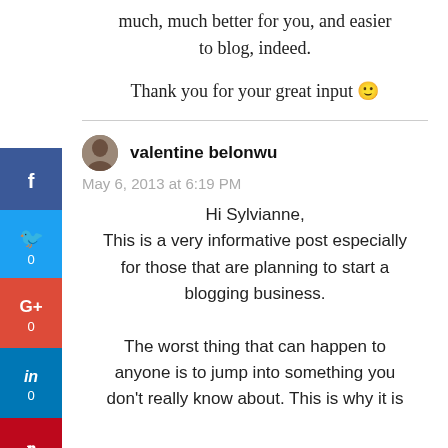much, much better for you, and easier to blog, indeed.
Thank you for your great input 🙂
valentine belonwu
May 6, 2013 at 6:19 PM
Hi Sylvianne, This is a very informative post especially for those that are planning to start a blogging business. The worst thing that can happen to anyone is to jump into something you don't really know about. This is why it is